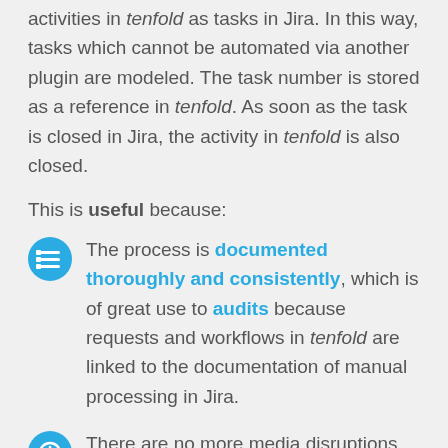activities in tenfold as tasks in Jira. In this way, tasks which cannot be automated via another plugin are modeled. The task number is stored as a reference in tenfold. As soon as the task is closed in Jira, the activity in tenfold is also closed.
This is useful because:
The process is documented thoroughly and consistently, which is of great use to audits because requests and workflows in tenfold are linked to the documentation of manual processing in Jira.
There are no more media disruptions and no duplicate entries. tenfold regularly checks the